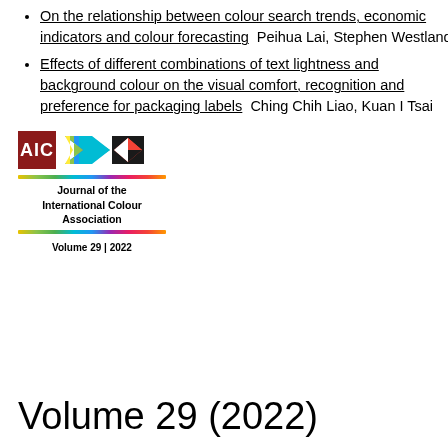On the relationship between colour search trends, economic indicators and colour forecasting  Peihua Lai, Stephen Westland
Effects of different combinations of text lightness and background colour on the visual comfort, recognition and preference for packaging labels  Ching Chih Liao, Kuan I Tsai
[Figure (logo): AIC Journal of the International Colour Association logo with rainbow bar and colored arrow/diamond icon, Volume 29 | 2022]
Volume 29 (2022)